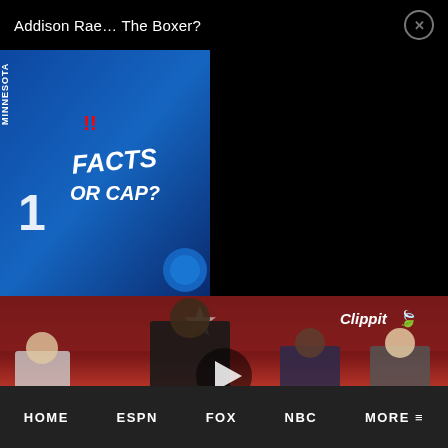Addison Rae… The Boxer?
[Figure (screenshot): Sports broadcast thumbnail showing Minnesota Timberwolves player #1 next to 'Facts or Cap?' graphic]
[Figure (screenshot): Video thumbnail of NFL GameDay studio broadcast with Clippit logo, Dallas Cowboys star, and analysts at desk with a host standing in front]
HOME   ESPN   FOX   NBC   MORE ≡